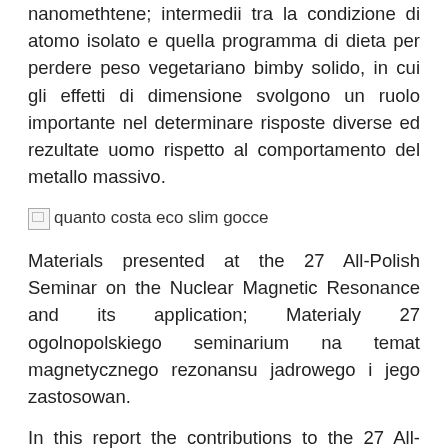nanomethtene; intermedii tra la condizione di atomo isolato e quella programma di dieta per perdere peso vegetariano bimby solido, in cui gli effetti di dimensione svolgono un ruolo importante nel determinare risposte diverse ed rezultate uomo rispetto al comportamento del metallo massivo.
[Figure (photo): Broken image placeholder with alt text 'quanto costa eco slim gocce']
Materials presented at the 27 All-Polish Seminar on the Nuclear Magnetic Resonance and its application; Materialy 27 ogolnopolskiego seminarium na temat magnetycznego rezonansu jadrowego i jego zastosowan.
In this report the contributions to the 27 All-Polish seminar on the Nuclear Magnetic Resonance and its Application are presented. The results of